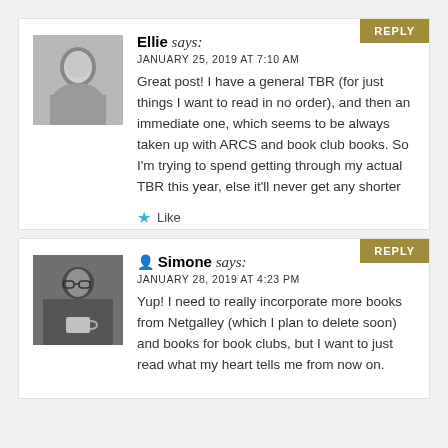REPLY
[Figure (photo): Grayscale avatar photo of Ellie]
Ellie says:
JANUARY 25, 2019 AT 7:10 AM
Great post! I have a general TBR (for just things I want to read in no order), and then an immediate one, which seems to be always taken up with ARCS and book club books. So I'm trying to spend getting through my actual TBR this year, else it'll never get any shorter
Like
REPLY
[Figure (photo): Grayscale avatar photo of Simone holding a mug]
Simone says:
JANUARY 28, 2019 AT 4:23 PM
Yup! I need to really incorporate more books from Netgalley (which I plan to delete soon) and books for book clubs, but I want to just read what my heart tells me from now on.